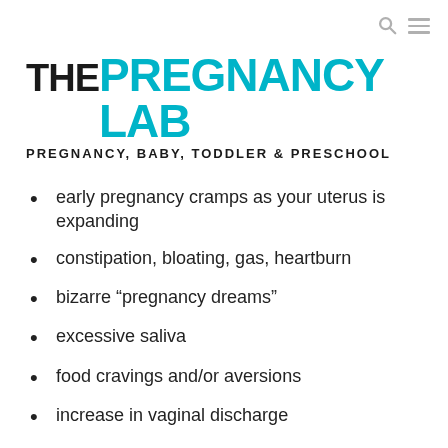[Figure (logo): The Pregnancy Lab logo with tagline: PREGNANCY, BABY, TODDLER & PRESCHOOL]
early pregnancy cramps as your uterus is expanding
constipation, bloating, gas, heartburn
bizarre “pregnancy dreams”
excessive saliva
food cravings and/or aversions
increase in vaginal discharge
mild pelvic cramping
moodiness